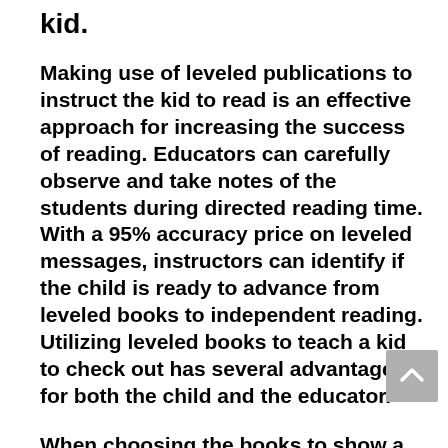kid.
Making use of leveled publications to instruct the kid to read is an effective approach for increasing the success of reading. Educators can carefully observe and take notes of the students during directed reading time. With a 95% accuracy price on leveled messages, instructors can identify if the child is ready to advance from leveled books to independent reading. Utilizing leveled books to teach a kid to check out has several advantages for both the child and the educator.
When choosing the books to show a